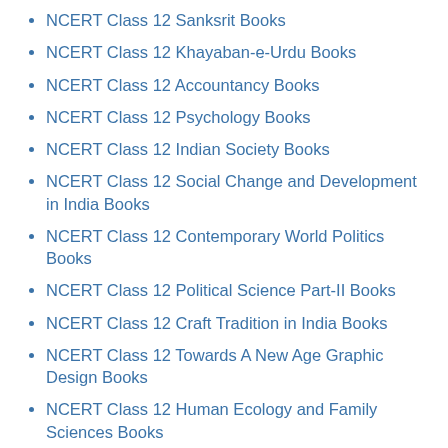NCERT Class 12 Sanksrit Books
NCERT Class 12 Khayaban-e-Urdu Books
NCERT Class 12 Accountancy Books
NCERT Class 12 Psychology Books
NCERT Class 12 Indian Society Books
NCERT Class 12 Social Change and Development in India Books
NCERT Class 12 Contemporary World Politics Books
NCERT Class 12 Political Science Part-II Books
NCERT Class 12 Craft Tradition in India Books
NCERT Class 12 Towards A New Age Graphic Design Books
NCERT Class 12 Human Ecology and Family Sciences Books
Preparation Using Class 12 Biology NCERT Book
You can use the below given tips in order to prepare for your class 12